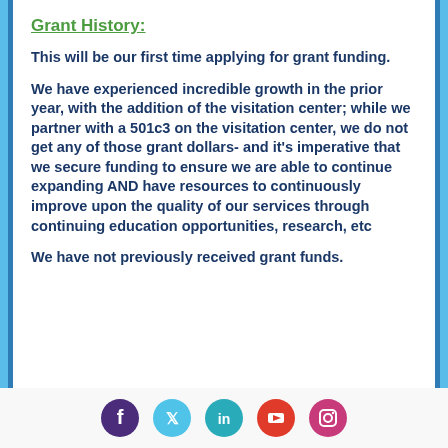Grant History:
This will be our first time applying for grant funding.
We have experienced incredible growth in the prior year, with the addition of the visitation center; while we partner with a 501c3 on the visitation center, we do not get any of those grant dollars- and it's imperative that we secure funding to ensure we are able to continue expanding AND have resources to continuously improve upon the quality of our services through continuing education opportunities, research, etc
We have not previously received grant funds.
[Figure (infographic): Row of five social media icons: Facebook (dark purple), Twitter (light blue), LinkedIn (teal), YouTube (red/orange), Instagram (pink/red)]